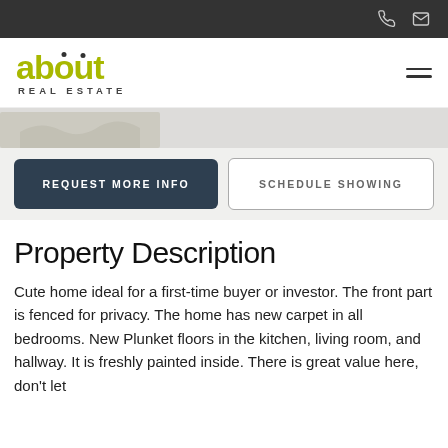about REAL ESTATE — navigation header with phone and email icons
[Figure (photo): Partial view of a property photo or image strip, faded/cropped]
REQUEST MORE INFO
SCHEDULE SHOWING
Property Description
Cute home ideal for a first-time buyer or investor. The front part is fenced for privacy. The home has new carpet in all bedrooms. New Plunket floors in the kitchen, living room, and hallway. It is freshly painted inside. There is great value here, don't let